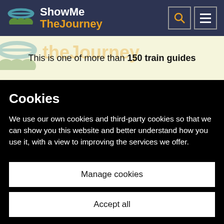ShowMe TheJourney
This is one of more than 150 train guides
Cookies
We use our own cookies and third-party cookies so that we can show you this website and better understand how you use it, with a view to improving the services we offer.
Manage cookies
Accept all